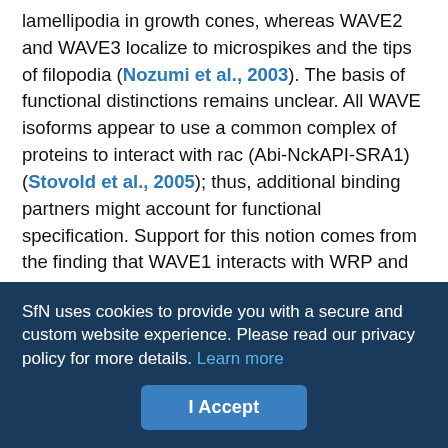lamellipodia in growth cones, whereas WAVE2 and WAVE3 localize to microspikes and the tips of filopodia (Nozumi et al., 2003). The basis of functional distinctions remains unclear. All WAVE isoforms appear to use a common complex of proteins to interact with rac (Abi-NckAPI-SRA1) (Stovold et al., 2005); thus, additional binding partners might account for functional specification. Support for this notion comes from the finding that WAVE1 interacts with WRP and the RII subunit of protein kinase A (PKA) in an isoform-specific manner (Westphal et al., 2000; Soderling et al., 2002).
The biologic significance of WAVE proteins remains mostly uncharacterized. WAVE1 and WAVE3 are enriched in CNS tissue, whereas WAVE2 is broadly expressed. WAVE1 deficiency results in
SfN uses cookies to provide you with a secure and custom website experience. Please read our privacy policy for more details. Learn more